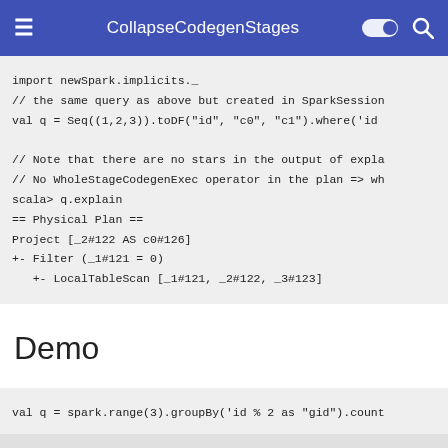CollapseCodegenStages
import newSpark.implicits._
// the same query as above but created in SparkSession
val q = Seq((1,2,3)).toDF("id", "c0", "c1").where('id

// Note that there are no stars in the output of expla
// No WholeStageCodegenExec operator in the plan => wh
scala> q.explain
== Physical Plan ==
Project [_2#122 AS c0#126]
+- Filter (_1#121 = 0)
   +- LocalTableScan [_1#121, _2#122, _3#123]
Demo
val q = spark.range(3).groupBy('id % 2 as "gid").count